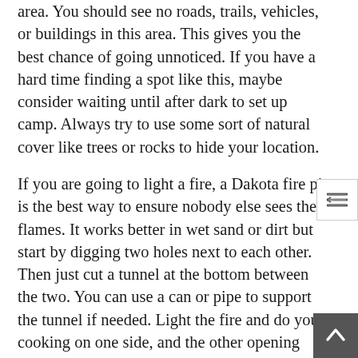area. You should see no roads, trails, vehicles, or buildings in this area. This gives you the best chance of going unnoticed. If you have a hard time finding a spot like this, maybe consider waiting until after dark to set up camp. Always try to use some sort of natural cover like trees or rocks to hide your location.
If you are going to light a fire, a Dakota fire pit is the best way to ensure nobody else sees the flames. It works better in wet sand or dirt but start by digging two holes next to each other. Then just cut a tunnel at the bottom between the two. You can use a can or pipe to support the tunnel if needed. Light the fire and do your cooking on one side, and the other opening will draw in oxygen. If you build it right, people at a distance will not see